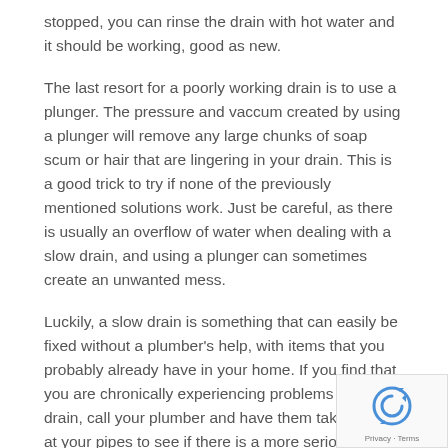stopped, you can rinse the drain with hot water and it should be working, good as new.
The last resort for a poorly working drain is to use a plunger. The pressure and vaccum created by using a plunger will remove any large chunks of soap scum or hair that are lingering in your drain. This is a good trick to try if none of the previously mentioned solutions work. Just be careful, as there is usually an overflow of water when dealing with a slow drain, and using a plunger can sometimes create an unwanted mess.
Luckily, a slow drain is something that can easily be fixed without a plumber's help, with items that you probably already have in your home. If you find that you are chronically experiencing problems with your drain, call your plumber and have them take a look at your pipes to see if there is a more serious problem
[Figure (logo): reCAPTCHA logo with Privacy and Terms text]